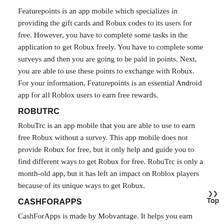Featurepoints is an app mobile which specializes in providing the gift cards and Robux codes to its users for free. However, you have to complete some tasks in the application to get Robux freely. You have to complete some surveys and then you are going to be paid in points. Next, you are able to use these points to exchange with Robux. For your information, Featurepoints is an essential Android app for all Roblox users to earn free rewards.
ROBUTRC
RobuTrc is an app mobile that you are able to use to earn free Robux without a survey. This app mobile does not provide Robux for free, but it only help and guide you to find different ways to get Robux for free. RobuTrc is only a month-old app, but it has left an impact on Roblox players because of its unique ways to get Robux.
CASHFORAPPS
CashForApps is made by Mobvantage. It helps you earn free gift cards, free Robux. This app has gained immense popularity for its services among users. You are able to download new app mc from the “CashForApps” and then you are going to get the poi return. When you receive the points in your CashForApps account,